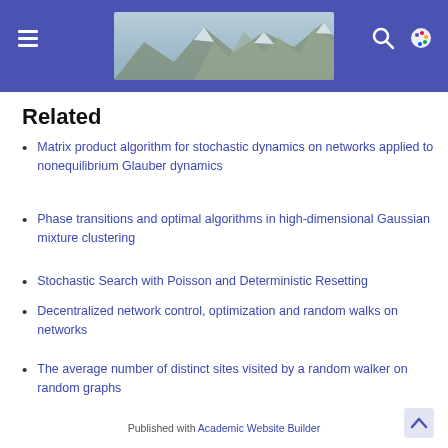[Figure (photo): Website header bar with hamburger menu on left, mountain landscape photo in center, search and palette icons on right, all on purple/indigo background]
Related
Matrix product algorithm for stochastic dynamics on networks applied to nonequilibrium Glauber dynamics
Phase transitions and optimal algorithms in high-dimensional Gaussian mixture clustering
Stochastic Search with Poisson and Deterministic Resetting
Decentralized network control, optimization and random walks on networks
The average number of distinct sites visited by a random walker on random graphs
Published with Academic Website Builder